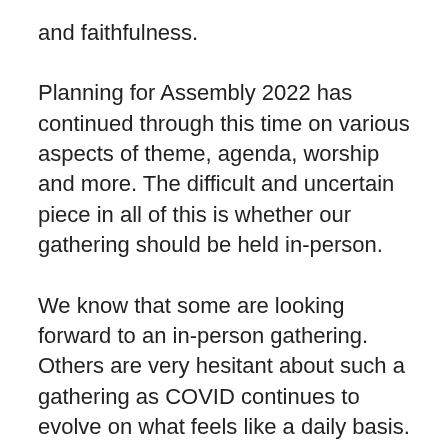and faithfulness.
Planning for Assembly 2022 has continued through this time on various aspects of theme, agenda, worship and more. The difficult and uncertain piece in all of this is whether our gathering should be held in-person.
We know that some are looking forward to an in-person gathering. Others are very hesitant about such a gathering as COVID continues to evolve on what feels like a daily basis.
The Assembly Planning Committee knows that a decision about whether an in-person